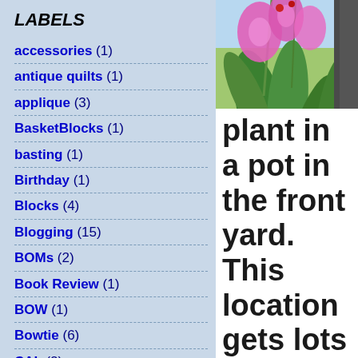LABELS
accessories (1)
antique quilts (1)
applique (3)
BasketBlocks (1)
basting (1)
Birthday (1)
Blocks (4)
Blogging (15)
BOMs (2)
Book Review (1)
BOW (1)
Bowtie (6)
CAL (2)
Charity Items (1)
CharitySewing (2)
Classes (6)
[Figure (photo): Pink orchid flowers with green leaves in a pot, photographed outdoors]
plant in a pot in the front yard. This location gets lots